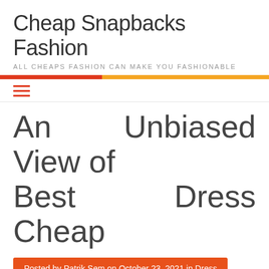Cheap Snapbacks Fashion
ALL CHEAPS FASHION CAN MAKE YOU FASHIONABLE
An Unbiased View of Best Dress Cheap
Posted by Patrik Sem on October 23, 2021 in Dress
[Figure (illustration): Small broken image icon placeholder labeled Dress Cheap]
At the moment, we have gotten extra aware of what precisely goes into our vogue and footwear choices. As you'll have already realized,